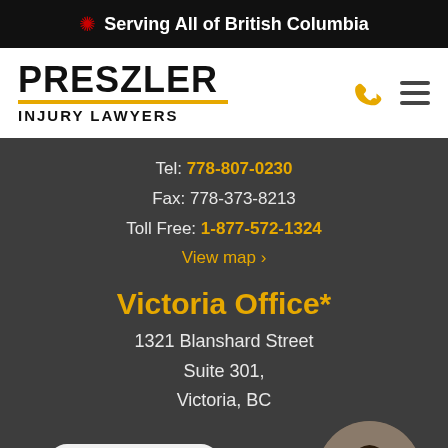🍁 Serving All of British Columbia
[Figure (logo): Preszler Injury Lawyers logo with phone icon and hamburger menu]
Tel: 778-807-0230
Fax: 778-373-8213
Toll Free: 1-877-572-1324
View map ›
Victoria Office*
1321 Blanshard Street
Suite 301,
Victoria, BC
Hi how can I help?
[Figure (photo): Customer service agent with headset]
Tel: 778-557-2608